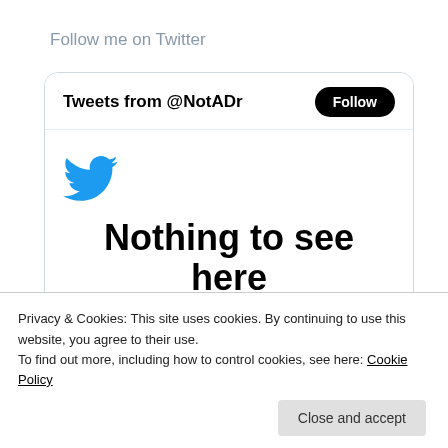Follow me on Twitter
[Figure (screenshot): Twitter widget showing 'Tweets from @NotADr' with a Follow button, Twitter bird logo, and 'Nothing to see here' message, plus a 'View on Twitter' button at the bottom.]
Privacy & Cookies: This site uses cookies. By continuing to use this website, you agree to their use.
To find out more, including how to control cookies, see here: Cookie Policy
Close and accept